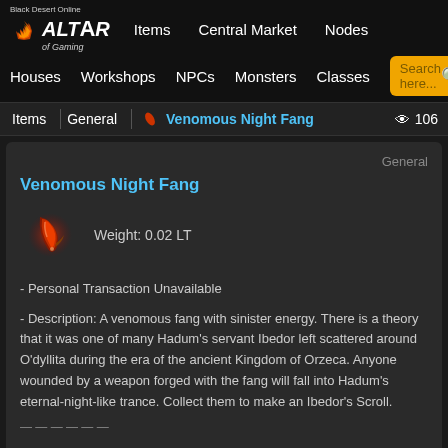Black Desert Online — Altar of Gaming — Items | Central Market | Nodes | Houses | Workshops | NPCs | Monsters | Classes
Items | General | Venomous Night Fang — 106 views
General
Venomous Night Fang
Weight: 0.02 LT
- Personal Transaction Unavailable
- Description: A venomous fang with sinister energy. There is a theory that it was one of many Hadum's servant Ibedor left scattered around O'dyllita during the era of the ancient Kingdom of Orzeca. Anyone wounded by a weapon forged with the fang will fall into Hadum's eternal-night-like trance. Collect them to make an Ibedor's Scroll.